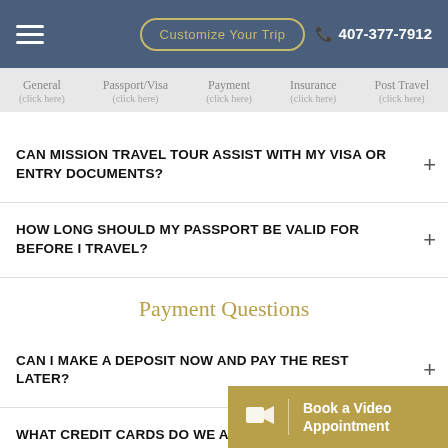Customize Your Trip  407-377-7912
General (click here)  Passport/Visa (click here)  Payment (click here)  Insurance (click here)  Post Travel (click here)
CAN MISSION TRAVEL TOUR ASSIST WITH MY VISA OR ENTRY DOCUMENTS?
HOW LONG SHOULD MY PASSPORT BE VALID FOR BEFORE I TRAVEL?
Payment Questions
CAN I MAKE A DEPOSIT NOW AND PAY THE REST LATER?
WHAT CREDIT CARDS DO WE ACCEPT